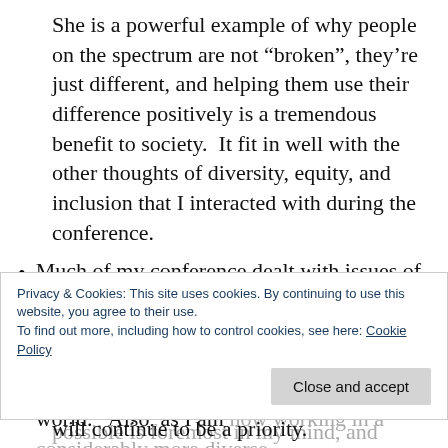She is a powerful example of why people on the spectrum are not “broken”, they’re just different, and helping them use their difference positively is a tremendous benefit to society.  It fit in well with the other thoughts of diversity, equity, and inclusion that I interacted with during the conference.
Much of my conference dealt with issues of “diversity, equity, and inclusion”.  I went to a lot of sessions about it, and thought about it a lot, especially in the context of the recent revelations from the entertainment world.   Also, as I am now working in a considerably more diverse environment than my previous institution, making employees as inclusive of their differences as possible is foremost in my mind, and giving them the opportunities they need and deserve will continue to be a priority.
Privacy & Cookies: This site uses cookies. By continuing to use this website, you agree to their use.
To find out more, including how to control cookies, see here: Cookie Policy